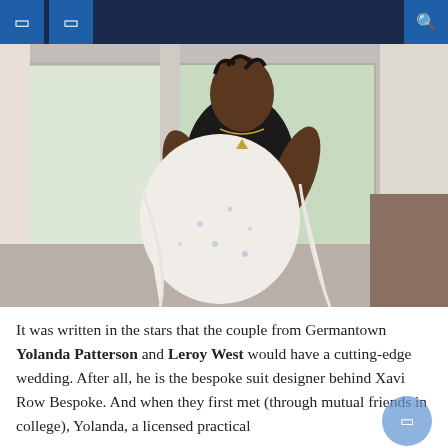Navigation header with menu icons and search
[Figure (photo): A man in a black tank top with braided hair examines a white patterned suit jacket with blue details, standing in a hotel room with windows and curtains in the background.]
It was written in the stars that the couple from Germantown Yolanda Patterson and Leroy West would have a cutting-edge wedding. After all, he is the bespoke suit designer behind Xavi Row Bespoke. And when they first met (through mutual friends in college), Yolanda, a licensed practical